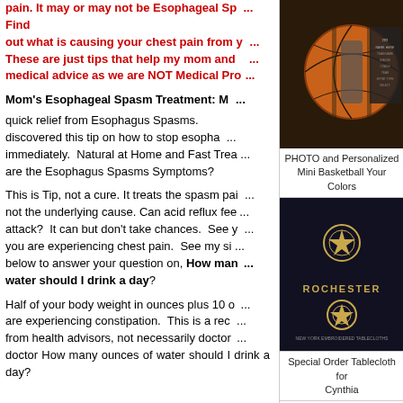pain. It may or may not be Esophageal Spasm. Find out what is causing your chest pain from your Doctor. These are just tips that help my mom and me. Not medical advice as we are NOT Medical Professionals.
Mom's Esophageal Spasm Treatment:
Mom discovered this tip on how to stop esophageal spasms immediately. Natural at Home and Fast Treatment. What are the Esophagus Spasms Symptoms?
This is Tip, not a cure. It treats the spasm pain, not the underlying cause. Can acid reflux feel like a heart attack? It can but don't take chances. See your doctor if you are experiencing chest pain. See my site link below to answer your question on, How many ounces of water should I drink a day?
Half of your body weight in ounces plus 10 ounces if you are experiencing constipation. This is a recommendation from health advisors, not necessarily doctors. Ask your doctor How many ounces of water should I drink a day?
[Figure (photo): Mini basketball with personalized photo, dark background with person holding basketball]
PHOTO and Personalized Mini Basketball Your Colors
[Figure (photo): Dark background product image with gold text reading ROCHESTER]
Special Order Tablecloth for Cynthia
view more products by LittleLindaPinda